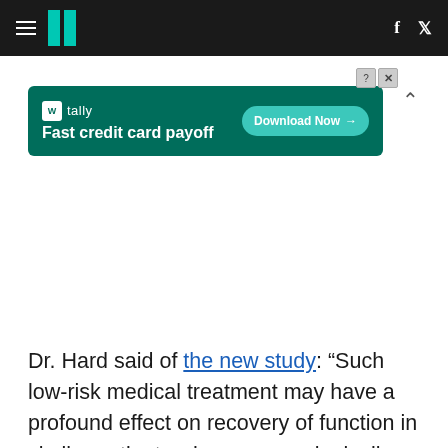HuffPost navigation with hamburger menu, logo, Facebook and Twitter icons
[Figure (screenshot): Tally advertisement banner: 'Fast credit card payoff' with Download Now button on dark green background]
Dr. Hard said of the new study: “Such low-risk medical treatment may have a profound effect on recovery of function in similar patients who are neurologically devastated by drowning.”